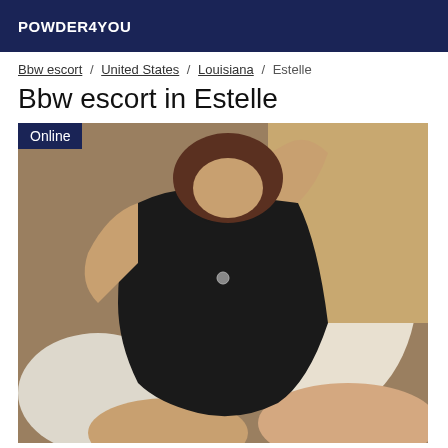POWDER4YOU
Bbw escort / United States / Louisiana / Estelle
Bbw escort in Estelle
[Figure (photo): Woman in black dress seated on bed with white pillows, with Online badge in upper left corner]